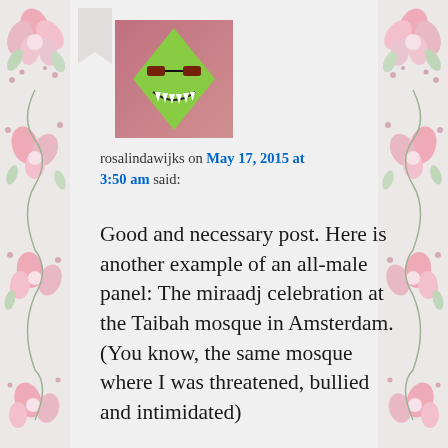[Figure (illustration): Decorative pink floral border on the left side of the page]
[Figure (illustration): Decorative pink floral border on the right side of the page]
[Figure (illustration): User avatar: a green diamond-shaped face with sunglasses and sharp teeth on a pink/red background]
rosalindawijks on May 17, 2015 at 3:50 am said:
Good and necessary post. Here is another example of an all-male panel: The miraadj celebration at the Taibah mosque in Amsterdam. (You know, the same mosque where I was threatened, bullied and intimidated)